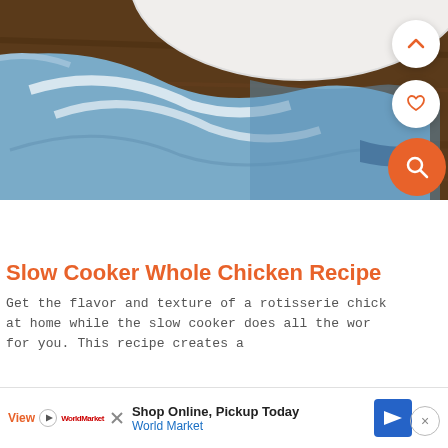[Figure (photo): Partial top view of a white ceramic plate and a blue striped kitchen towel on a dark wooden surface]
Slow Cooker Whole Chicken Recipe
Get the flavor and texture of a rotisserie chick at home while the slow cooker does all the wor for you. This recipe creates a
Shop Online, Pickup Today
World Market